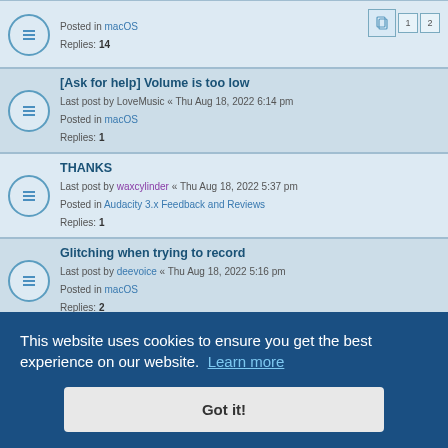Posted in macOS
Replies: 14
[Ask for help] Volume is too low
Last post by LoveMusic « Thu Aug 18, 2022 6:14 pm
Posted in macOS
Replies: 1
THANKS
Last post by waxcylinder « Thu Aug 18, 2022 5:37 pm
Posted in Audacity 3.x Feedback and Reviews
Replies: 1
Glitching when trying to record
Last post by deevoice « Thu Aug 18, 2022 5:16 pm
Posted in macOS
Replies: 2
clipping when recording computer audio
Last post by DVDdoug « Thu Aug 18, 2022 4:43 pm
Posted in Windows
Replies: 6
RECORDING DOES NOT WORK (Solved)
Last post by ditanik « Thu Aug 18, 2022 3:12 am
This website uses cookies to ensure you get the best experience on our website. Learn more
Got it!